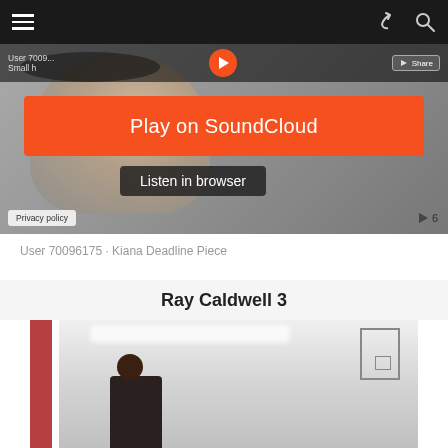[Figure (screenshot): Mobile app navigation bar with hamburger menu on left, share and search icons on right, dark background]
[Figure (screenshot): SoundCloud embedded audio player showing a female athlete, with orange 'Play on SoundCloud' button and 'Listen in browser' option, privacy policy label and play count of 6]
User 70096175 · Kiana Deadline Piece
Ray Caldwell 3
[Figure (photo): Indoor gymnasium photo showing a person standing near striped wall with basketball backboard visible on the right]